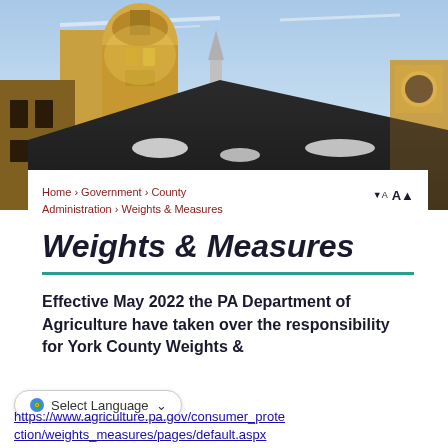[Figure (photo): Photograph of a government building dome and rooftop against a blue sky with clouds, showing ornate architectural details and a clock tower]
Home › Government › County Administration › Weights & Measures
Weights & Measures
Effective May 2022 the PA Department of Agriculture have taken over the responsibility for York County Weights &
https://www.agriculture.pa.gov/consumer_protection/weights_measures/pages/default.aspx